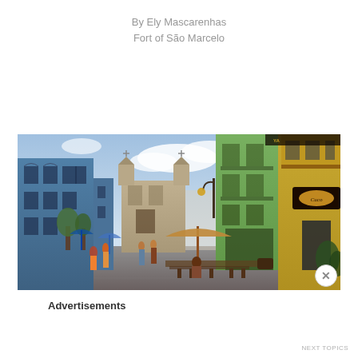By Ely Mascarenhas
Fort of São Marcelo
[Figure (photo): Street scene in Salvador, Bahia, Brazil showing colorful colonial buildings (blue, green, yellow), a baroque church in the background, cobblestone street with people walking, outdoor café with umbrella seating, and tropical plants.]
Advertisements